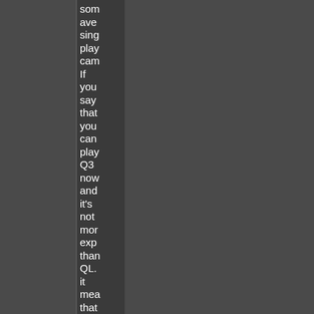som ave sing play cam If you say that you can play Q3 now and it's not mor exp than QL. it mea that for you hav live opp doe